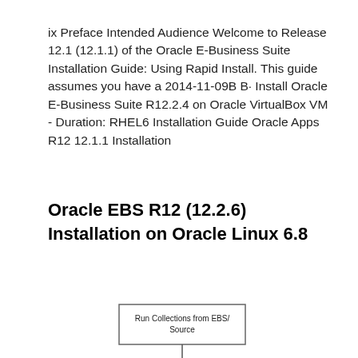ix Preface Intended Audience Welcome to Release 12.1 (12.1.1) of the Oracle E-Business Suite Installation Guide: Using Rapid Install. This guide assumes you have a 2014-11-09B B· Install Oracle E-Business Suite R12.2.4 on Oracle VirtualBox VM - Duration: RHEL6 Installation Guide Oracle Apps R12 12.1.1 Installation
Oracle EBS R12 (12.2.6) Installation on Oracle Linux 6.8
[Figure (other): A box/button labeled 'Run Collections from EBS/Source' with a connector line below it]